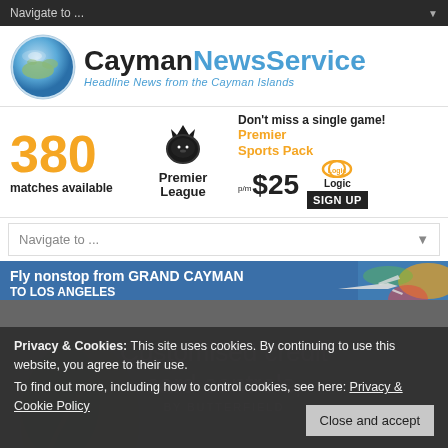Navigate to ...
[Figure (logo): Cayman News Service logo with globe icon and text 'CaymanNewsService - Headline News from the Cayman Islands']
[Figure (infographic): Premier League ad banner: 380 matches available, Premier League logo, Don't miss a single game! Premier Sports Pack $25 p/m, Logic, SIGN UP]
Navigate to ...
[Figure (infographic): Fly nonstop from GRAND CAYMAN to LOS ANGELES with airline imagery]
Privacy & Cookies: This site uses cookies. By continuing to use this website, you agree to their use.
To find out more, including how to control cookies, see here: Privacy & Cookie Policy
[Figure (infographic): Butterfield bank ad: Customised credit card controls, by BUTTERFIELD]